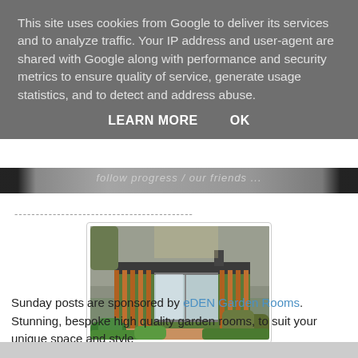This site uses cookies from Google to deliver its services and to analyze traffic. Your IP address and user-agent are shared with Google along with performance and security metrics to ensure quality of service, generate usage statistics, and to detect and address abuse.
LEARN MORE   OK
[Figure (screenshot): Partial image strip showing a blurred/dark header image with text 'follow progress / our friends' partially visible]
----------------------------------------
[Figure (photo): Photo of a wooden garden room with large glass sliding doors set in a garden with plants and trees around it, stone wall visible in background]
Sunday posts are sponsored by eDEN Garden Rooms. Stunning, bespoke high quality garden rooms, to suit your unique space and style